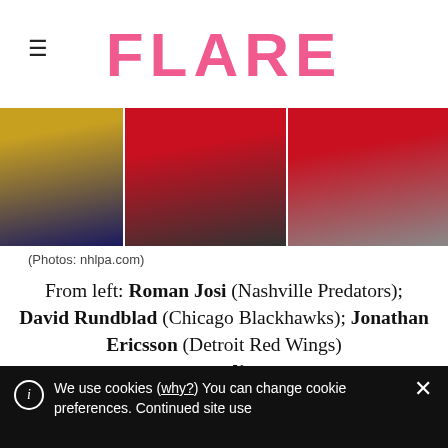FLARE
[Figure (photo): Photo strip showing three NHL hockey players in their team jerseys: left player in Nashville Predators gold/navy jersey, middle player in Chicago Blackhawks red jersey, right player in Detroit Red Wings red jersey. Cropped at shoulder/chest level.]
(Photos: nhlpa.com)
From left: Roman Josi (Nashville Predators); David Rundblad (Chicago Blackhawks); Jonathan Ericsson (Detroit Red Wings)
Goalie
Henrik Lundqvist (New York Rangers)
We use cookies (why?) You can change cookie preferences. Continued site use